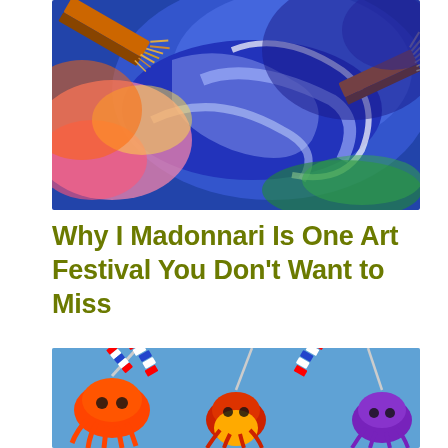[Figure (photo): Close-up of colorful paint strokes in blue, orange, pink, yellow, and white with paintbrush bristles visible on the left and right sides]
Why I Madonnari Is One Art Festival You Don't Want to Miss
[Figure (photo): Colorful octopus-shaped kites or balloon figures floating against a blue sky, including red, orange, and purple octopuses with striped tails in red, white, and blue]